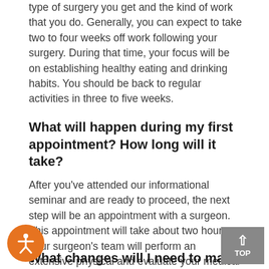type of surgery you get and the kind of work that you do. Generally, you can expect to take two to four weeks off work following your surgery. During that time, your focus will be on establishing healthy eating and drinking habits. You should be back to regular activities in three to five weeks.
What will happen during my first appointment? How long will it take?
After you've attended our informational seminar and are ready to proceed, the next step will be an appointment with a surgeon. This appointment will take about two hours. Your surgeon's team will perform an extensive physical and evaluate your medical history to determine if you are a candidate for surgery.
What changes will I need to make after